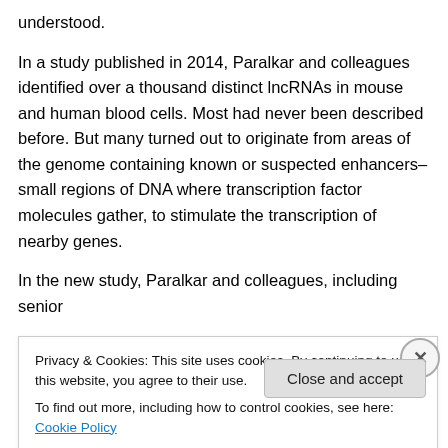understood.
In a study published in 2014, Paralkar and colleagues identified over a thousand distinct lncRNAs in mouse and human blood cells. Most had never been described before. But many turned out to originate from areas of the genome containing known or suspected enhancers–small regions of DNA where transcription factor molecules gather, to stimulate the transcription of nearby genes.
In the new study, Paralkar and colleagues, including senior
Privacy & Cookies: This site uses cookies. By continuing to use this website, you agree to their use.
To find out more, including how to control cookies, see here: Cookie Policy